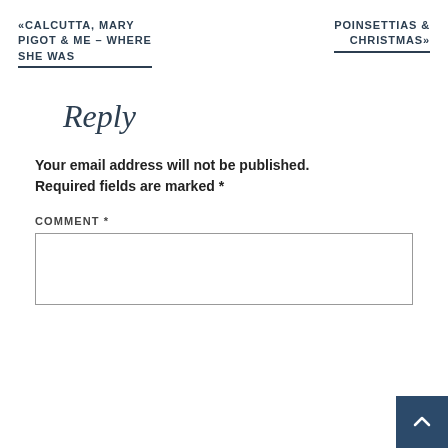«CALCUTTA, MARY PIGOT & ME – WHERE SHE WAS
POINSETTIAS & CHRISTMAS»
Reply
Your email address will not be published. Required fields are marked *
COMMENT *